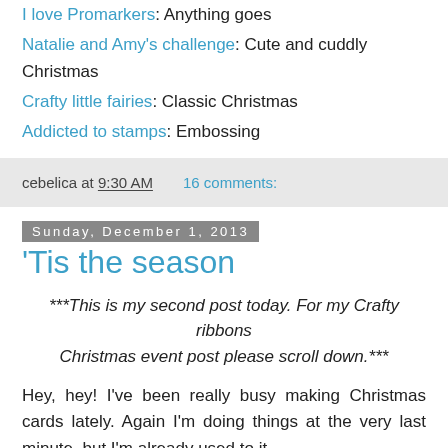I love Promarkers: Anything goes
Natalie and Amy's challenge: Cute and cuddly Christmas
Crafty little fairies: Classic Christmas
Addicted to stamps: Embossing
cebelica at 9:30 AM   16 comments:
Sunday, December 1, 2013
'Tis the season
***This is my second post today. For my Crafty ribbons Christmas event post please scroll down.***
Hey, hey! I've been really busy making Christmas cards lately. Again I'm doing things at the very last minute, but I'm already used to it.
I recently got some new Christmas stamps from Yumi and Fumi Handmade and I just couldn't wait to play with them. I decided to use one of them (Yeti Yumi) for our new challenge. This time we have a photo inspiration challenge